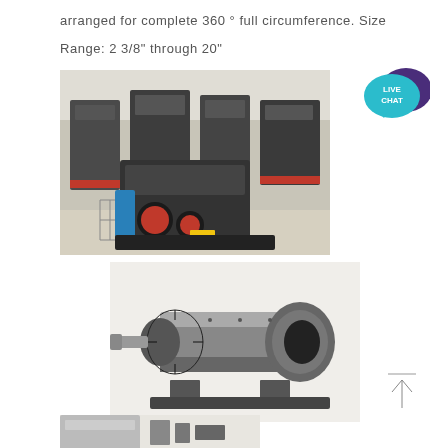arranged for complete 360 ° full circumference. Size
Range: 2 3/8" through 20"
[Figure (photo): Industrial heavy machinery equipment in a factory warehouse setting, showing multiple large crushers or mills on the floor]
[Figure (photo): A large industrial ball mill or rotary drum machine, gray colored, showing the cylindrical body and inlet/outlet ends]
[Figure (photo): Partial view of another industrial machine at the bottom of the page]
[Figure (illustration): Live Chat bubble icon in teal/cyan color with purple speech bubble, text reads LIVE CHAT]